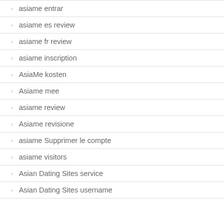asiame entrar
asiame es review
asiame fr review
asiame inscription
AsiaMe kosten
Asiame mee
asiame review
Asiame revisione
asiame Supprimer le compte
asiame visitors
Asian Dating Sites service
Asian Dating Sites username